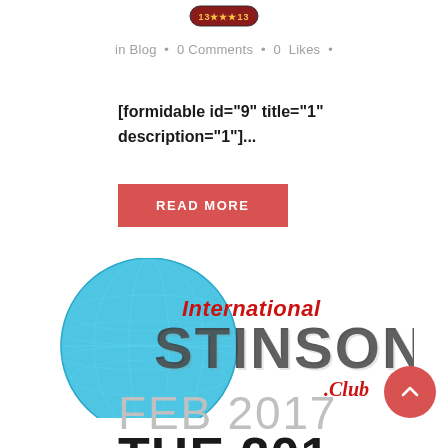[Figure (logo): Small Harley Davidson style circular logo at top center]
in Blog • 0 Comments • 0 Likes •
[formidable id="9" title="1" description="1"]...
READ MORE
[Figure (logo): International Stinson Club logo — blue globe with red italic 'International' and large dark metallic 'STINSON' text, with 'Club' in red script]
FEB 2017
THE 2017